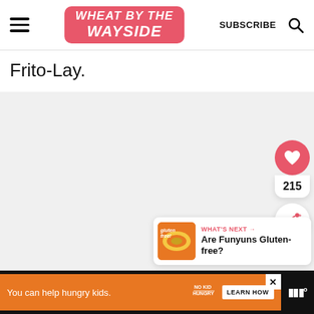[Figure (logo): Wheat By The Wayside blog logo — pink/red rounded rectangle with white bold italic text]
SUBSCRIBE
Frito-Lay.
[Figure (infographic): Pink heart favorite button with count 215 and white share button below]
215
[Figure (infographic): What's Next card: thumbnail image of Funyuns gluten-free bag with text 'WHAT'S NEXT → Are Funyuns Gluten-free?']
WHAT'S NEXT → Are Funyuns Gluten-free?
You can help hungry kids.
LEARN HOW